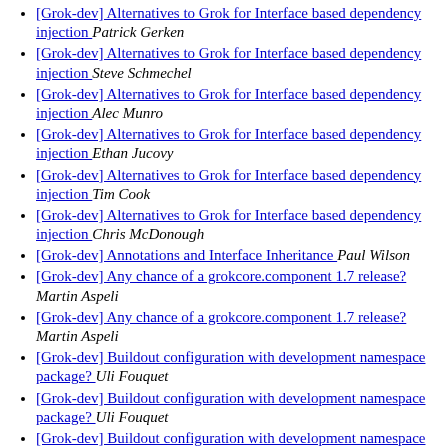[Grok-dev] Alternatives to Grok for Interface based dependency injection  Patrick Gerken
[Grok-dev] Alternatives to Grok for Interface based dependency injection  Steve Schmechel
[Grok-dev] Alternatives to Grok for Interface based dependency injection  Alec Munro
[Grok-dev] Alternatives to Grok for Interface based dependency injection  Ethan Jucovy
[Grok-dev] Alternatives to Grok for Interface based dependency injection  Tim Cook
[Grok-dev] Alternatives to Grok for Interface based dependency injection  Chris McDonough
[Grok-dev] Annotations and Interface Inheritance  Paul Wilson
[Grok-dev] Any chance of a grokcore.component 1.7 release?  Martin Aspeli
[Grok-dev] Any chance of a grokcore.component 1.7 release?  Martin Aspeli
[Grok-dev] Buildout configuration with development namespace package?  Uli Fouquet
[Grok-dev] Buildout configuration with development namespace package?  Uli Fouquet
[Grok-dev] Buildout configuration with development namespace package?  Andreas Jung
[Grok-dev] Buildout configuration with development namespace package?